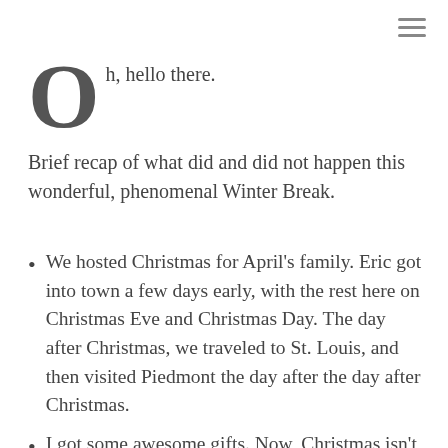Oh, hello there.

Brief recap of what did and did not happen this wonderful, phenomenal Winter Break.
We hosted Christmas for April's family. Eric got into town a few days early, with the rest here on Christmas Eve and Christmas Day. The day after Christmas, we traveled to St. Louis, and then visited Piedmont the day after the day after Christmas.
I got some awesome gifts. Now, Christmas isn't about gifts, and what we really loved was having the chance to spend lots of time with our family. But it cannot be denied